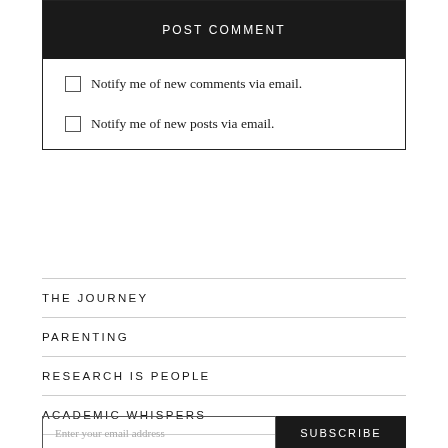POST COMMENT
Notify me of new comments via email.
Notify me of new posts via email.
THE JOURNEY
PARENTING
RESEARCH IS PEOPLE
ACADEMIC WHISPERS
Enter your email address
SUBSCRIBE